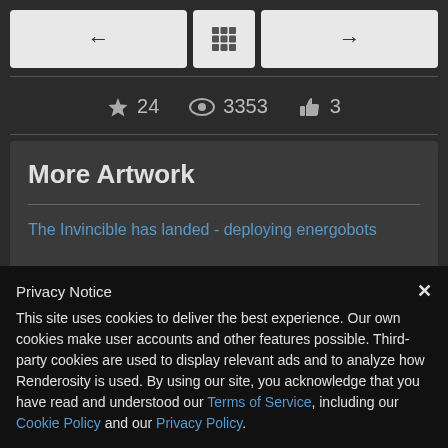[Figure (screenshot): Navigation buttons: back arrow, grid icon, forward arrow]
★ 24  👁 3353  👍 3
More Artwork
The Invincible has landed - deploying energobots
The Invincible Hangar Bay
Privacy Notice
This site uses cookies to deliver the best experience. Our own cookies make user accounts and other features possible. Third-party cookies are used to display relevant ads and to analyze how Renderosity is used. By using our site, you acknowledge that you have read and understood our Terms of Service, including our Cookie Policy and our Privacy Policy.